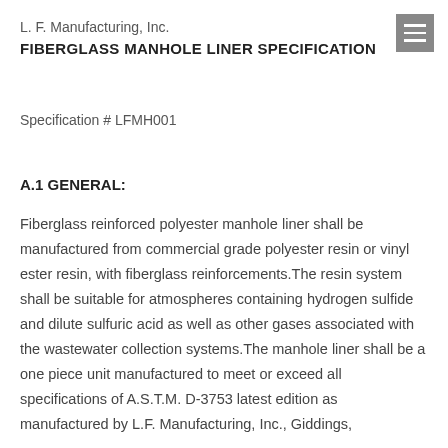L. F. Manufacturing, Inc.
FIBERGLASS MANHOLE LINER SPECIFICATION
Specification # LFMH001
A.1 GENERAL:
Fiberglass reinforced polyester manhole liner shall be manufactured from commercial grade polyester resin or vinyl ester resin, with fiberglass reinforcements.The resin system shall be suitable for atmospheres containing hydrogen sulfide and dilute sulfuric acid as well as other gases associated with the wastewater collection systems.The manhole liner shall be a one piece unit manufactured to meet or exceed all specifications of A.S.T.M. D-3753 latest edition as manufactured by L.F. Manufacturing, Inc., Giddings,